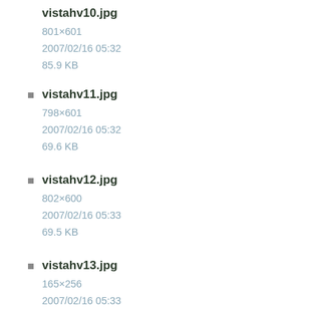vistahv10.jpg
801×601
2007/02/16 05:32
85.9 KB
vistahv11.jpg
798×601
2007/02/16 05:32
69.6 KB
vistahv12.jpg
802×600
2007/02/16 05:33
69.5 KB
vistahv13.jpg
165×256
2007/02/16 05:33
21.8 KB
vistahv14.jpg
359×377